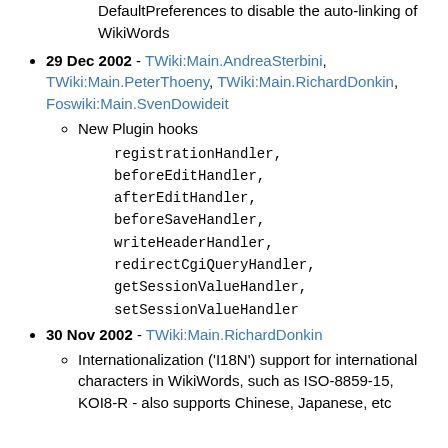DefaultPreferences to disable the auto-linking of WikiWords
29 Dec 2002 - TWiki:Main.AndreaSterbini, TWiki:Main.PeterThoeny, TWiki:Main.RichardDonkin, Foswiki:Main.SvenDowideit
New Plugin hooks
registrationHandler, beforeEditHandler, afterEditHandler, beforeSaveHandler, writeHeaderHandler, redirectCgiQueryHandler, getSessionValueHandler, setSessionValueHandler
30 Nov 2002 - TWiki:Main.RichardDonkin
Internationalization ('I18N') support for international characters in WikiWords, such as ISO-8859-15, KOI8-R - also supports Chinese, Japanese, etc